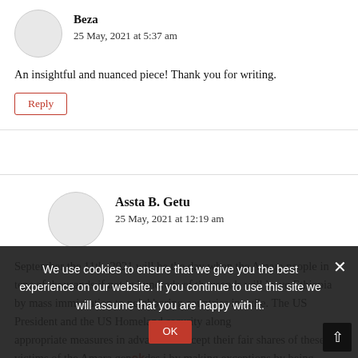Beza
25 May, 2021 at 5:37 am
An insightful and nuanced piece! Thank you for writing.
Reply
Assta B. Getu
25 May, 2021 at 12:19 am
September the 11th, 2021 will be the day when the Amara people in tens of thousands if not in hundreds of thousands will leave Ethiopia by mass immigration to neighboring countries in exile. The US President and the US Homeland security along appropriate measures in advance to accept their fair shares of these victims of the Amara genocides i by making exceptions by being lenient towards those Amara's genocide victims
We use cookies to ensure that we give you the best experience on our website. If you continue to use this site we will assume that you are happy with it.